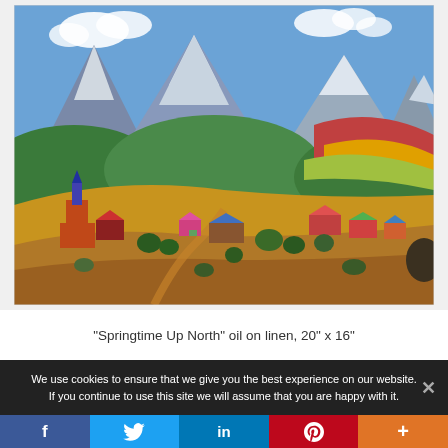[Figure (illustration): Colorful oil painting titled 'Springtime Up North' showing a mountain valley landscape with a small village, church tower, colorful buildings, snow-capped peaks, green hills, and orange/brown foreground terrain under a blue sky with clouds.]
“Springtime Up North” oil on linen, 20” x 16”
We use cookies to ensure that we give you the best experience on our website. If you continue to use this site we will assume that you are happy with it.